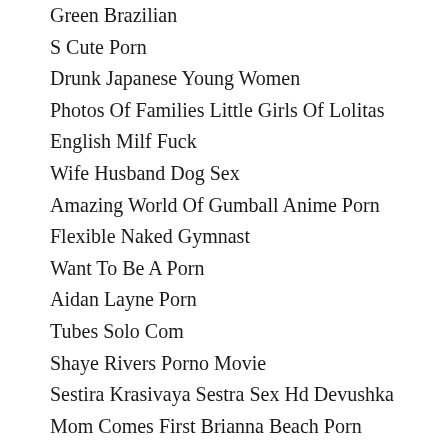Green Brazilian
S Cute Porn
Drunk Japanese Young Women
Photos Of Families Little Girls Of Lolitas
English Milf Fuck
Wife Husband Dog Sex
Amazing World Of Gumball Anime Porn
Flexible Naked Gymnast
Want To Be A Porn
Aidan Layne Porn
Tubes Solo Com
Shaye Rivers Porno Movie
Sestira Krasivaya Sestra Sex Hd Devushka
Mom Comes First Brianna Beach Porn
Sex And The City Original Online
Amber Rayne Lesbian